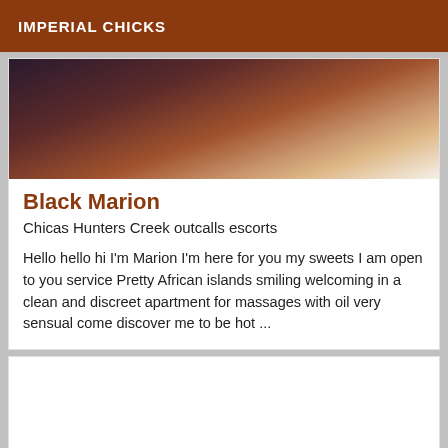IMPERIAL CHICKS
[Figure (photo): Close-up photo showing skin tones ranging from dark to light, partial body image]
Black Marion
Chicas Hunters Creek outcalls escorts
Hello hello hi I'm Marion I'm here for you my sweets I am open to you service Pretty African islands smiling welcoming in a clean and discreet apartment for massages with oil very sensual come discover me to be hot ...